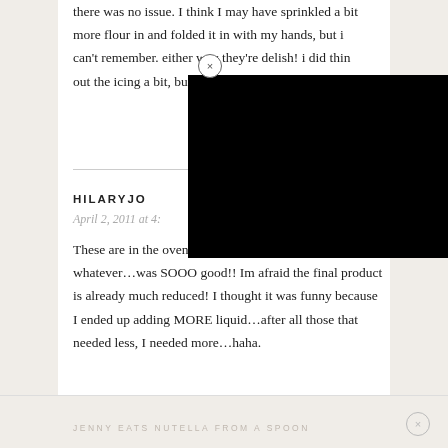there was no issue. I think I may have sprinkled a bit more flour in and folded it in with my hands, but i can't remember. either way they're delish! i did thin out the icing a bit, but that's all. than
[Figure (other): Black rectangle overlay covering part of the page content]
HILARYJO
April 2, 2011 at 4:
These are in the oven right now! The dough…batter…whatever…was SOOO good!! Im afraid the final product is already much reduced! I thought it was funny because I ended up adding MORE liquid…after all those that needed less, I needed more…haha.
JENNY EATS NUTELLA FROM A SPOON